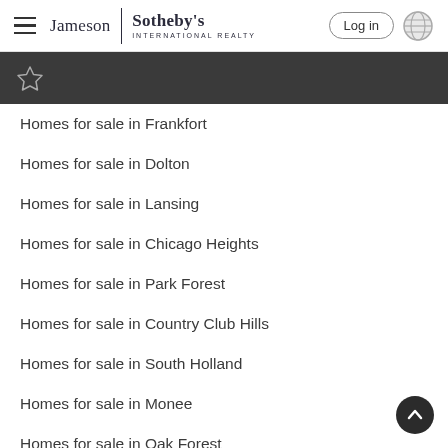Jameson | Sotheby's INTERNATIONAL REALTY — Log in
[Figure (other): Dark navigation bar with a star/bookmark icon]
Homes for sale in Frankfort
Homes for sale in Dolton
Homes for sale in Lansing
Homes for sale in Chicago Heights
Homes for sale in Park Forest
Homes for sale in Country Club Hills
Homes for sale in South Holland
Homes for sale in Monee
Homes for sale in Oak Forest
See All Cities Near Crete ▶